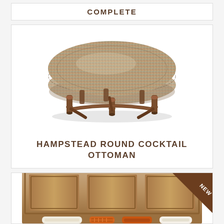COMPLETE
[Figure (photo): Round cocktail ottoman with multicolor tweed fabric upholstery on carved wooden legs with curved stretchers]
HAMPSTEAD ROUND COCKTAIL OTTOMAN
[Figure (photo): Wooden bed headboard with panel detail, shown with decorative pillows in orange and white patterns. NEW badge in top-right corner.]